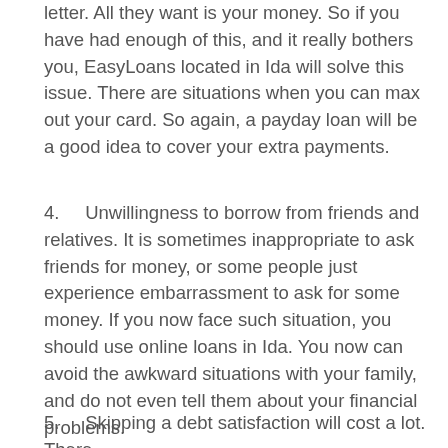letter. All they want is your money. So if you have had enough of this, and it really bothers you, EasyLoans located in Ida will solve this issue. There are situations when you can max out your card. So again, a payday loan will be a good idea to cover your extra payments.
4.    Unwillingness to borrow from friends and relatives. It is sometimes inappropriate to ask friends for money, or some people just experience embarrassment to ask for some money. If you now face such situation, you should use online loans in Ida. You now can avoid the awkward situations with your family, and do not even tell them about your financial problems.
5.    Skipping a debt satisfaction will cost a lot. There